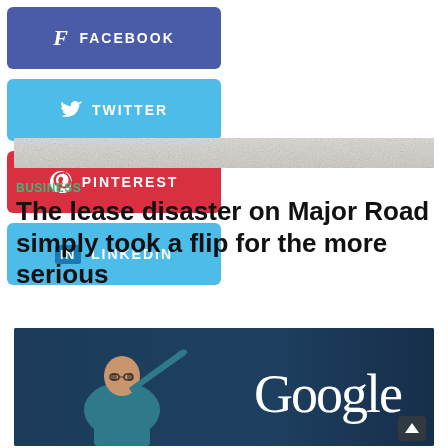[Figure (other): Social media share buttons: Facebook (blue-purple), Twitter (light blue), Pinterest (red), LinkedIn (light blue)]
[Figure (photo): Horizontal strip showing a stone/concrete surface texture]
BUSINESS
The lease disaster on Major Road simply took a flip for the more serious
[Figure (photo): A man in a blue shirt with arm raised on a dark blue stage background with the word 'Google' in large white serif letters]